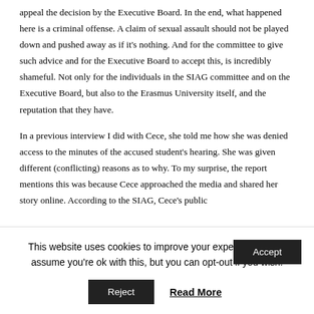appeal the decision by the Executive Board. In the end, what happened here is a criminal offense. A claim of sexual assault should not be played down and pushed away as if it's nothing. And for the committee to give such advice and for the Executive Board to accept this, is incredibly shameful. Not only for the individuals in the SIAG committee and on the Executive Board, but also to the Erasmus University itself, and the reputation that they have.
In a previous interview I did with Cece, she told me how she was denied access to the minutes of the accused student's hearing. She was given different (conflicting) reasons as to why. To my surprise, the report mentions this was because Cece approached the media and shared her story online. According to the SIAG, Cece's public
This website uses cookies to improve your experience. We'll assume you're ok with this, but you can opt-out if you wish. Accept
Reject   Read More